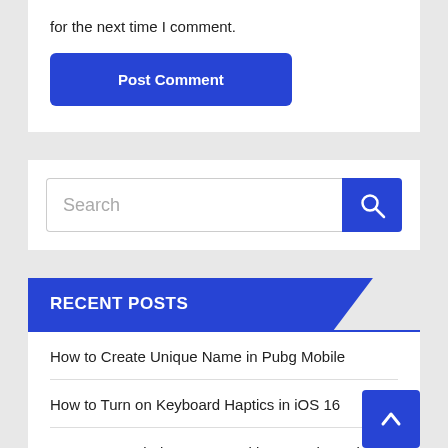for the next time I comment.
Post Comment
Search
RECENT POSTS
How to Create Unique Name in Pubg Mobile
How to Turn on Keyboard Haptics in iOS 16
How to Get Windows 10's Taskbar Weather Widget Back